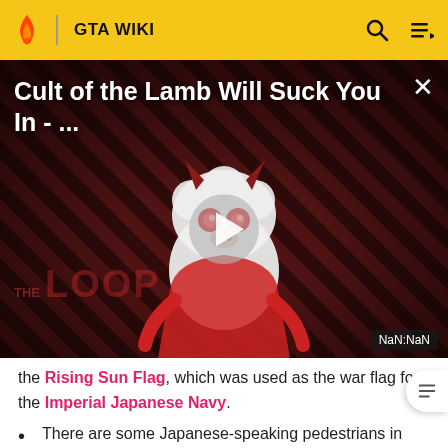GTA WIKI
[Figure (screenshot): Video thumbnail/player for 'Cult of the Lamb Will Suck You In - ...' on The Loop, with a cartoon demonic lamb character, play button, and NaN:NaN time display on a dark striped background.]
the Rising Sun Flag, which was used as the war flag for the Imperial Japanese Navy.
There are some Japanese-speaking pedestrians in GTA San Andreas.
The Katana ( or 刀) is a Japanese weapon, which